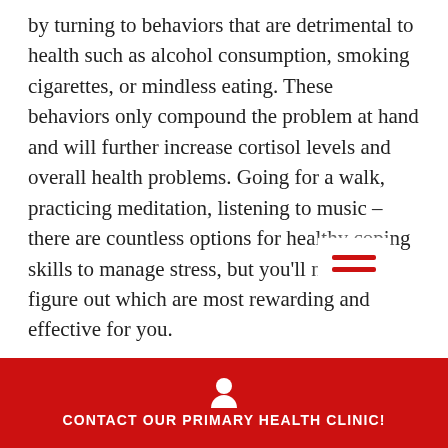by turning to behaviors that are detrimental to health such as alcohol consumption, smoking cigarettes, or mindless eating. These behaviors only compound the problem at hand and will further increase cortisol levels and overall health problems. Going for a walk, practicing meditation, listening to music – there are countless options for healthy coping skills to manage stress, but you'll need to figure out which are most rewarding and effective for you.
Sleep deprivation is also perceived by the body as a stressor and can lead to increased cortisol levels. Aim for a
CONTACT OUR PRIMARY HEALTH CLINIC!